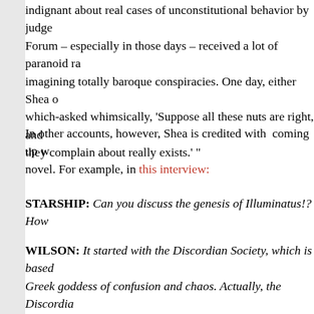indignant about real cases of unconstitutional behavior by judges. The Forum – especially in those days – received a lot of paranoid rants imagining totally baroque conspiracies. One day, either Shea or I – which-asked whimsically, 'Suppose all these nuts are right, and everything they complain about really exists.' "
In other accounts, however, Shea is credited with coming up with the novel. For example, in this interview:
STARSHIP: Can you discuss the genesis of Illuminatus!? How
WILSON: It started with the Discordian Society, which is based on Eris, the Greek goddess of confusion and chaos. Actually, the Discordian Society is a religion disguised as a complicated joke, although some skeptics say it's a joke disguised as a religion. We [Robert Shea, his coauthor] felt the need for an opposition, because the whole idea of it is based on conflict and dialectics. We created an opposition within the Discordian Society, which we called the Illuminati. We got the idea from the John Birch Society and various right-wing groups who believe that the Illuminati really run the world. There were several Discordian newsletters written in the 1960s, and several Discordian articles in the underground press in various parts of the country. So, we began writing about the warfare between the Discordian Society and the Illuminati...